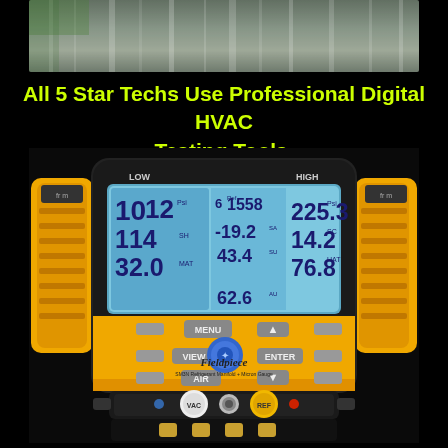[Figure (photo): Top portion showing a blurred outdoor background, water or metal surface]
All 5 Star Techs Use Professional Digital HVAC Testing Tools.
[Figure (photo): Fieldpiece SM3N Refrigerant Manifold + Micron Gauge digital HVAC testing tool with yellow/black body, blue LCD display showing pressure and temperature readings (10, 12, 6, 1558, 225.3, 114, 19.2, 14.2, 320, 43.4, 76.8, 62.6), keypad with MENU, VIEW, AIR, ENTER buttons, and hose connections at bottom with VAC and REF ports]